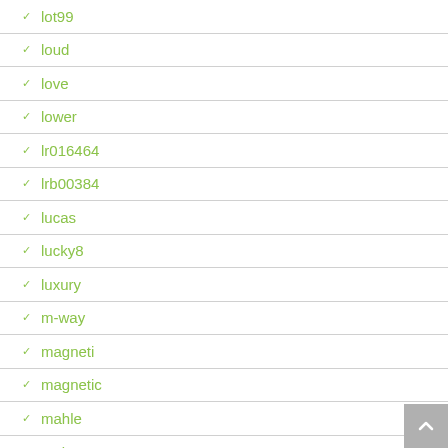lot99
loud
love
lower
lr016464
lrb00384
lucas
lucky8
luxury
m-way
magneti
magnetic
mahle
main